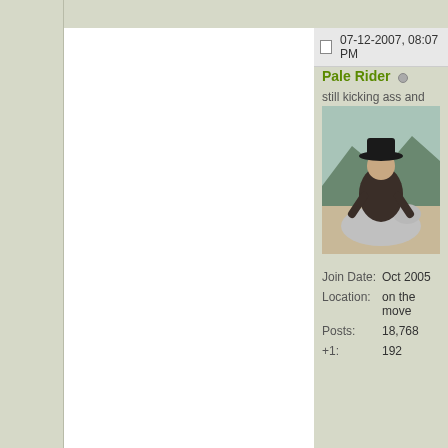07-12-2007, 08:07 PM
Pale Rider
still kicking ass and taking na...
[Figure (photo): Profile avatar: a man in a dark hat and coat riding a horse outdoors with mountains in background]
Join Date: Oct 2005
Location: on the move
Posts: 18,768
+1: 192